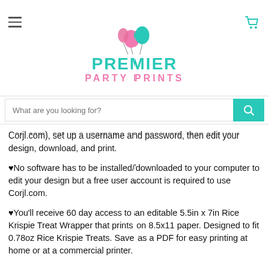[Figure (logo): Premier Party Prints logo with balloons, teal and pink text]
What are you looking for?
Corjl.com), set up a username and password, then edit your design, download, and print.
♥No software has to be installed/downloaded to your computer to edit your design but a free user account is required to use Corjl.com.
♥You'll receive 60 day access to an editable 5.5in x 7in Rice Krispie Treat Wrapper that prints on 8.5x11 paper. Designed to fit 0.78oz Rice Krispie Treats. Save as a PDF for easy printing at home or at a commercial printer.